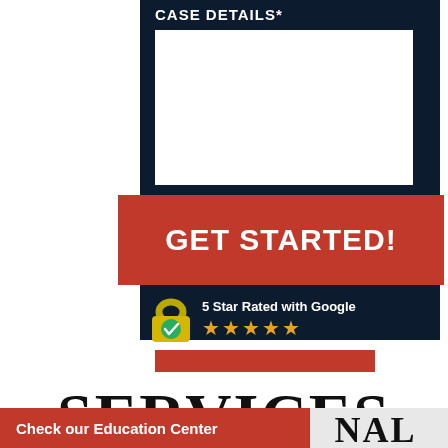CASE DETAILS*
[Figure (screenshot): Navy blue form panel with white input area, red GET STARTED button, padlock icon, and 5-star Google rating badge]
SERVICES
Check our Education Center
NAL